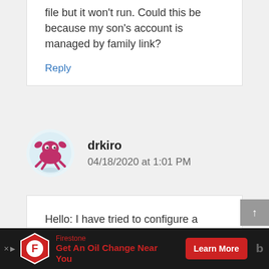file but it won't run. Could this be because my son's account is managed by family link?
Reply
drkiro
04/18/2020 at 1:01 PM
Hello: I have tried to configure a printer, so far I have not been able to configure it, has anyone done it in Linux beta?
[Figure (other): Firestone advertisement banner: logo shield icon, text 'Get An Oil Change Near You', red 'Learn More' button]